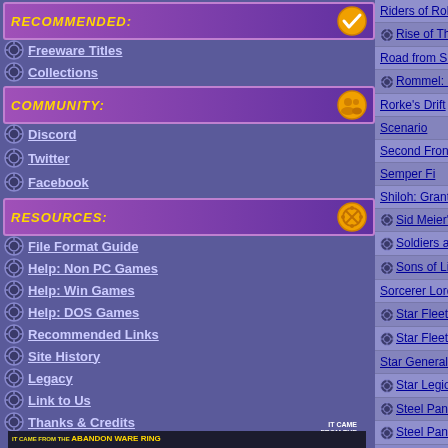RECOMMENDED:
Freeware Titles
Collections
COMMUNITY:
Discord
Twitter
Facebook
RESOURCES:
File Format Guide
Help: Non PC Games
Help: Win Games
Help: DOS Games
Recommended Links
Site History
Legacy
Link to Us
Thanks & Credits
[Figure (illustration): It Came From The Abandon Ware Ring banner]
| Game Title | Category |
| --- | --- |
| Riders of Rohan | Ko... |
| Rise of The West | RA... |
| Road from Sumter to Appomattox 2, The | Ada... |
| Rommel: Battle for North Africa | Str... |
| Rorke's Drift | Imp... |
| Scenario | Sta... |
| Second Front | Str... |
| Semper Fi | Inte... |
| Shiloh: Grant's Trial in The West | Str... |
| Sid Meier's Civil War Collection | Ele... |
| Soldiers at War | Str... |
| Sons of Liberty | Str... |
| Sorcerer Lord | PS... |
| Star Fleet 1: The War Begins | Inte... |
| Star Fleet 2: Krellan Commander | Inte... |
| Star General | Str... |
| Star Legions | Min... |
| Steel Panthers | Min... |
| Steel Panthers: World at War | Fre... |